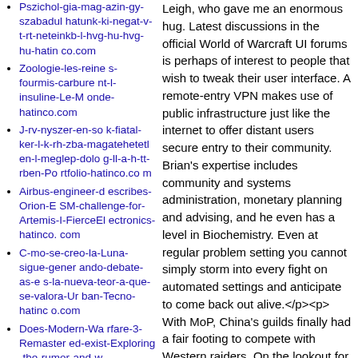Pszichol-gia-mag-azin-gy-szabadul hatunk-ki-negat-v-t-rt-neteinkb-l-hvg-hu-hvg-hu-hatinco.com
Zoologie-les-reines-fourmis-carburent-l-insuline-Le-Monde-hatinco.com
J-rv-nyszer-en-sok-fiatal-ker-l-k-rh-zba-magatehetetl en-l-meglep-dolog-ll-a-h-tt-rben-Portfolio-hatinco.com
Airbus-engineer-describes-Orion-ESM-challenge-for-Artemis-I-FierceElectronics-hatinco.com
C-mo-se-creo-la-Luna-sigue-generando-debate-as-es-la-nueva-teor-a-que-se-valora-Urban-Tecno-hatinco.com
Does-Modern-Warfare-3-Remastered-exist-Exploring-the-rumor-and-w
Leigh, who gave me an enormous hug. Latest discussions in the official World of Warcraft UI forums is perhaps of interest to people that wish to tweak their user interface. A remote-entry VPN makes use of public infrastructure just like the internet to offer distant users secure entry to their community. Brian's expertise includes community and systems administration, monetary planning and advising, and he even has a level in Biochemistry. Even at regular problem setting you cannot simply storm into every fight on automated settings and anticipate to come back out alive.</p><p> With MoP, China's guilds finally had a fair footing to compete with Western raiders. On the lookout for a BitTorrent? client? You possibly can obtain Transmission, qBittorrent, PicoTorrent? or Deluge. I discover the default water to be the best wanting general. Biata: The only factor that I'm not looking forward to in the patch is the fame grind to exalted for the enchanting patterns. They provide the